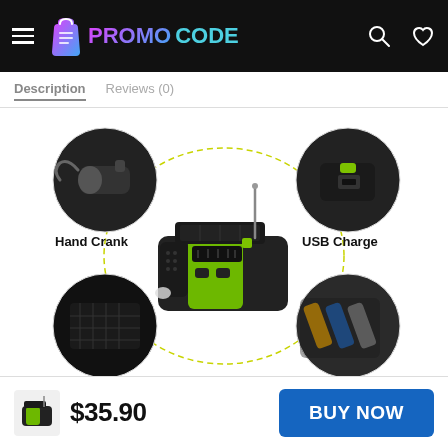PROMOCODE
Description   Reviews (0)
[Figure (photo): Product feature diagram of a solar-powered hand crank emergency radio showing four close-up callouts: Hand Crank (top left), USB Charge (top right), Solar Power (bottom left), Replaceable Batteries (bottom right), with the main device in center.]
$35.90
BUY NOW